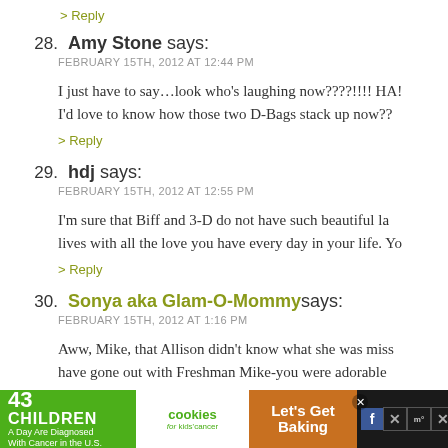> Reply
28. Amy Stone says:
FEBRUARY 15TH, 2012 AT 12:44 PM
I just have to say…look who's laughing now????!!!! HA! I'd love to know how those two D-Bags stack up now??
> Reply
29. hdj says:
FEBRUARY 15TH, 2012 AT 12:55 PM
I'm sure that Biff and 3-D do not have such beautiful la lives with all the love you have every day in your life. Yo
> Reply
30. Sonya aka Glam-O-Mommy says:
FEBRUARY 15TH, 2012 AT 1:16 PM
Aww, Mike, that Allison didn't know what she was miss have gone out with Freshman Mike-you were adorable
[Figure (infographic): Ad banner: '43 CHILDREN A Day Are Diagnosed With Cancer in the U.S.' with cookies for kids' cancer logo and 'Let's Get Baking' on brown background, followed by dark social media icons.]